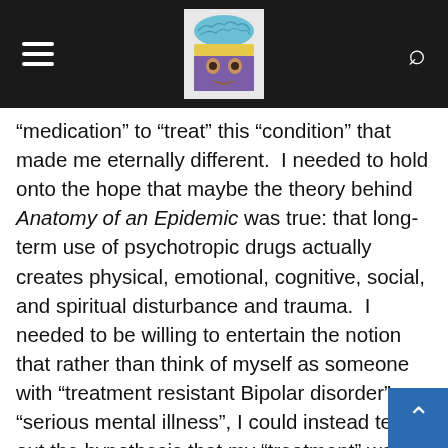Navigation header with hamburger menu, brain logo, and search icon
“medication” to “treat” this “condition” that made me eternally different.  I needed to hold onto the hope that maybe the theory behind Anatomy of an Epidemic was true: that long-term use of psychotropic drugs actually creates physical, emotional, cognitive, social, and spiritual disturbance and trauma.  I needed to be willing to entertain the notion that rather than think of myself as someone with “treatment resistant Bipolar disorder” or “serious mental illness”, I could instead test out the hypothesis that my “treatment” was making me “sick” in the first place— a hypothesis that ended up being true.  At the root of it all, I needed to be ready and open to the idea that, in truth, there had never been anything wrong inside of me, that I was no different than any other person, and that the intense emotional and psychic pain I’d felt for much of my life was not a “symptom” to be “treated